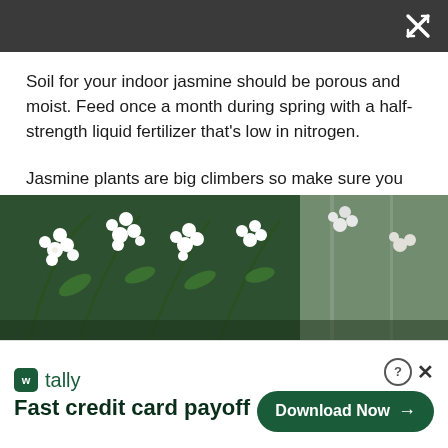[Figure (screenshot): Dark gray top navigation bar with expand/collapse icon (X with arrows) in top right corner]
Soil for your indoor jasmine should be porous and moist. Feed once a month during spring with a half-strength liquid fertilizer that’s low in nitrogen.
Jasmine plants are big climbers so make sure you have an indoor trellis to keep them in check. And give it a regular trim with the best secateurs to keep things shapely.
[Figure (photo): Photo of white jasmine flowers with green foliage, showing clusters of small star-shaped white blooms against a window background]
[Figure (infographic): Advertisement banner for Tally app: logo with green icon and tally name, tagline 'Fast credit card payoff', Download Now button with arrow on right side, help and close icons]